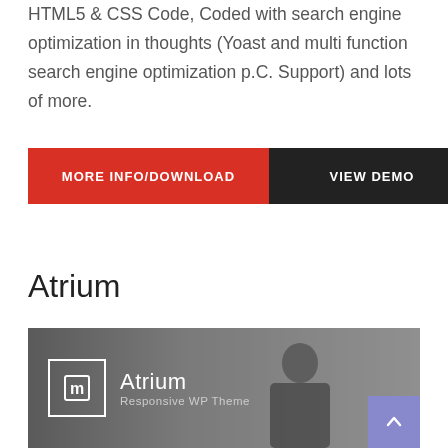HTML5 & CSS Code, Coded with search engine optimization in thoughts (Yoast and multi function search engine optimization p.C. Support) and lots of more.
[Figure (other): Two buttons side by side: red 'MORE INFO/DOWNLOAD' button and dark/black 'VIEW DEMO' button]
Atrium
[Figure (screenshot): Atrium Responsive WP Theme promotional banner with logo icon on dark/grey background, showing 'Atrium' title and 'Responsive WP Theme' subtitle, with a person presenting in background]